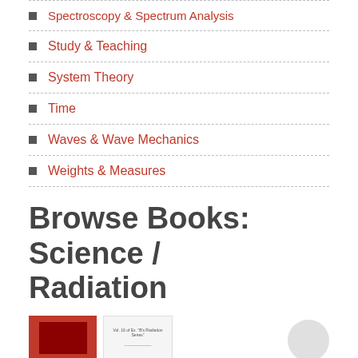Spectroscopy & Spectrum Analysis
Study & Teaching
System Theory
Time
Waves & Wave Mechanics
Weights & Measures
Browse Books: Science / Radiation
[Figure (illustration): Two book cover thumbnails shown side by side, first with red background, second with light background and text]